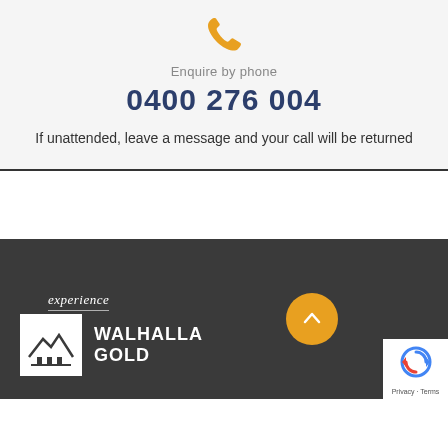[Figure (illustration): Gold/yellow telephone handset icon]
Enquire by phone
0400 276 004
If unattended, leave a message and your call will be returned
[Figure (logo): Experience Walhalla Gold logo with building/mountain icon on white background and stylized script text]
[Figure (illustration): Golden circular scroll-to-top button with upward chevron]
[Figure (illustration): Google reCAPTCHA badge with Privacy - Terms text]